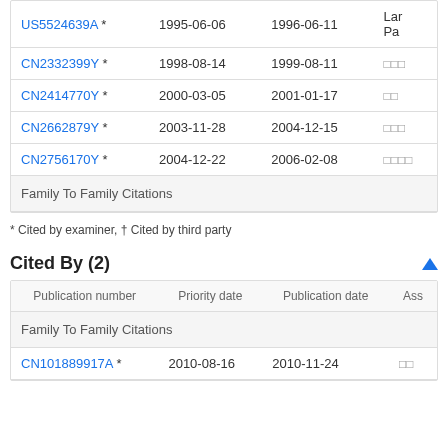| Publication number | Priority date | Publication date | Assignee |
| --- | --- | --- | --- |
| US5524639A * | 1995-06-06 | 1996-06-11 | Lar Pa |
| CN2332399Y * | 1998-08-14 | 1999-08-11 | □□□ |
| CN2414770Y * | 2000-03-05 | 2001-01-17 | □□ |
| CN2662879Y * | 2003-11-28 | 2004-12-15 | □□□ |
| CN2756170Y * | 2004-12-22 | 2006-02-08 | □□□□ |
| Family To Family Citations |  |  |  |
* Cited by examiner, † Cited by third party
Cited By (2)
| Publication number | Priority date | Publication date | Assignee |
| --- | --- | --- | --- |
| Family To Family Citations |  |  |  |
| CN101889917A * | 2010-08-16 | 2010-11-24 | □□ |